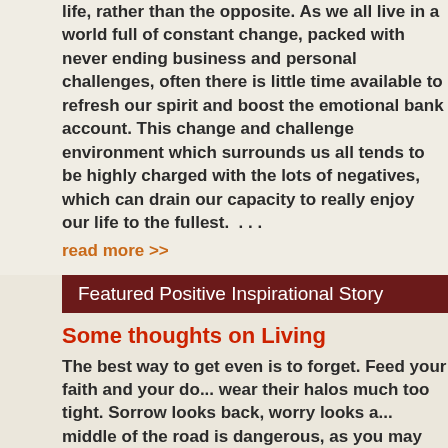life, rather than the opposite. As we all live in a world full of constant change, packed with never ending business and personal challenges, often there is little time available to refresh our spirit and boost the emotional bank account. This change and challenge environment which surrounds us all tends to be highly charged with the lots of negatives, which can drain our capacity to really enjoy our life to the fullest.  . . .
read more >>
Featured Positive Inspirational Story
Some thoughts on Living
The best way to get even is to forget. Feed your faith and your do... wear their halos much too tight. Sorrow looks back, worry looks a... middle of the road is dangerous, as you may well get knocked do...
Featured Positive Inspirational Quotes